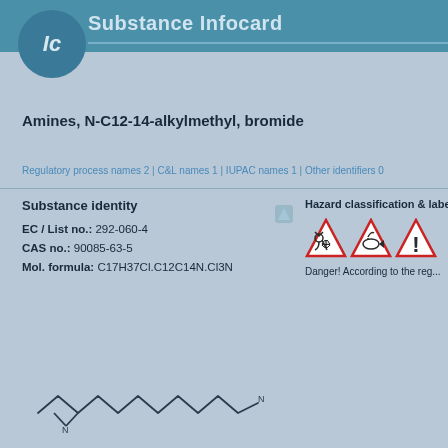Ic  Substance Infocard
Amines, N-C12-14-alkylmethyl, bromide
Regulatory process names 2 | C&L names 1 | IUPAC names 1 | Other identifiers 0
Substance Identity
EC / List no.: 292-060-4
CAS no.: 90085-63-5
Mol. formula: C17H37Cl.C12C14N.Cl3N
Hazard classification & labelling
[Figure (infographic): Three GHS hazard diamond icons: corrosive/irritant, environmental hazard, exclamation mark]
Danger! According to the reg...
[Figure (illustration): Chemical structure/skeletal formula of the amine compound]